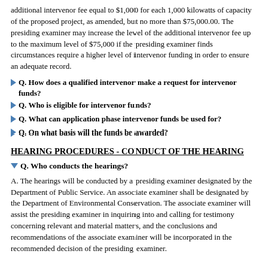additional intervenor fee equal to $1,000 for each 1,000 kilowatts of capacity of the proposed project, as amended, but no more than $75,000.00. The presiding examiner may increase the level of the additional intervenor fee up to the maximum level of $75,000 if the presiding examiner finds circumstances require a higher level of intervenor funding in order to ensure an adequate record.
Q. How does a qualified intervenor make a request for intervenor funds?
Q. Who is eligible for intervenor funds?
Q. What can application phase intervenor funds be used for?
Q. On what basis will the funds be awarded?
HEARING PROCEDURES - CONDUCT OF THE HEARING
Q. Who conducts the hearings?
A. The hearings will be conducted by a presiding examiner designated by the Department of Public Service. An associate examiner shall be designated by the Department of Environmental Conservation. The associate examiner will assist the presiding examiner in inquiring into and calling for testimony concerning relevant and material matters, and the conclusions and recommendations of the associate examiner will be incorporated in the recommended decision of the presiding examiner.